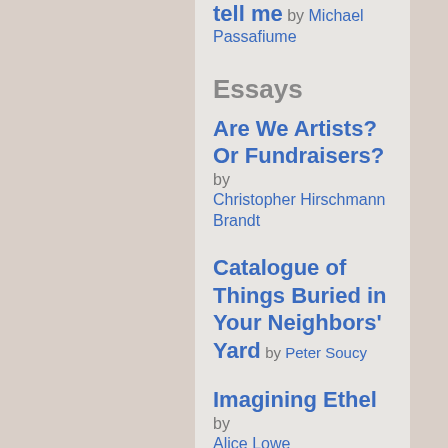tell me by Michael Passafiume
Essays
Are We Artists? Or Fundraisers? by Christopher Hirschmann Brandt
Catalogue of Things Buried in Your Neighbors' Yard by Peter Soucy
Imagining Ethel by Alice Lowe
Fiction